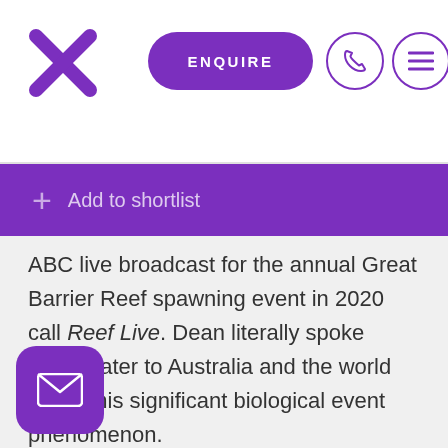[Figure (logo): Purple X logo mark in top left corner]
[Figure (other): Purple rounded rectangle ENQUIRE button]
[Figure (other): Purple circle with phone icon]
[Figure (other): Purple circle with hamburger menu icon]
+ Add to shortlist
ABC live broadcast for the annual Great Barrier Reef spawning event in 2020 call Reef Live. Dean literally spoke underwater to Australia and the world about this significant biological event phenomenon.
Dr Dean is the Managing Director and co-founder of the Great Barrier Reef Legacy, a non-profit organisation that crews and operates the only independent research
[Figure (other): Purple rounded square button with email/envelope icon]